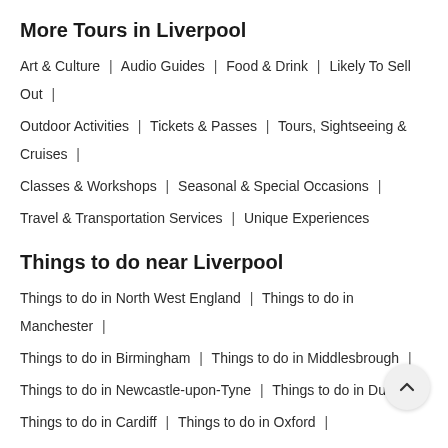More Tours in Liverpool
Art & Culture | Audio Guides | Food & Drink | Likely To Sell Out | Outdoor Activities | Tickets & Passes | Tours, Sightseeing & Cruises | Classes & Workshops | Seasonal & Special Occasions | Travel & Transportation Services | Unique Experiences
Things to do near Liverpool
Things to do in North West England | Things to do in Manchester | Things to do in Birmingham | Things to do in Middlesbrough | Things to do in Newcastle-upon-Tyne | Things to do in Dublin | Things to do in Cardiff | Things to do in Oxford | Things to do in Bristol | Things to do in Belfast | Things to do in Cambridge | Things to do in Stansted Mountfitchet | Things to do in Edin… | Things to do in Yorkshire | Things to do in North East England